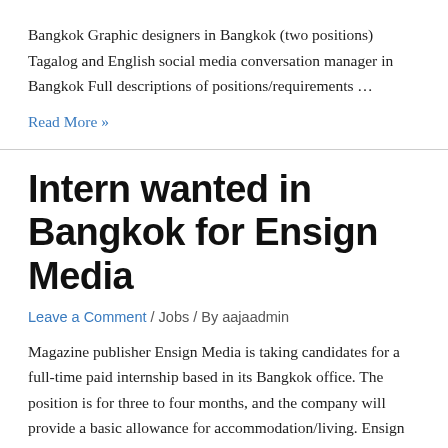Bangkok Graphic designers in Bangkok (two positions) Tagalog and English social media conversation manager in Bangkok Full descriptions of positions/requirements …
Read More »
Intern wanted in Bangkok for Ensign Media
Leave a Comment / Jobs / By aajaadmin
Magazine publisher Ensign Media is taking candidates for a full-time paid internship based in its Bangkok office. The position is for three to four months, and the company will provide a basic allowance for accommodation/living. Ensign Media's publications and websites include Property Report South East Asia, Asia